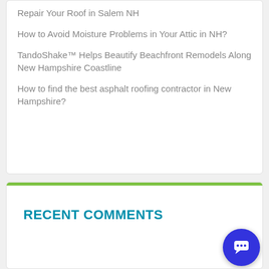Repair Your Roof in Salem NH
How to Avoid Moisture Problems in Your Attic in NH?
TandoShake™ Helps Beautify Beachfront Remodels Along New Hampshire Coastline
How to find the best asphalt roofing contractor in New Hampshire?
RECENT COMMENTS